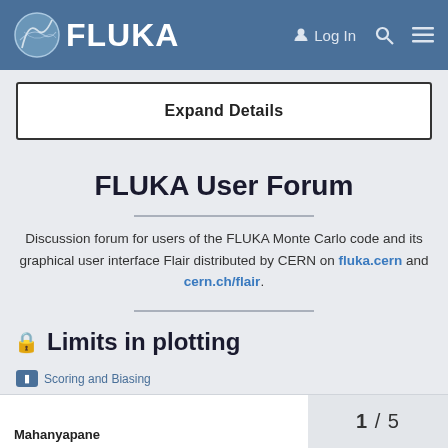FLUKA — Log In
Expand Details
FLUKA User Forum
Discussion forum for users of the FLUKA Monte Carlo code and its graphical user interface Flair distributed by CERN on fluka.cern and cern.ch/flair.
Limits in plotting
Scoring and Biasing
1 / 5
Mahanyapane